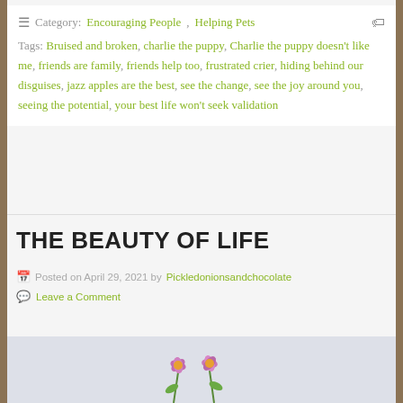Category: Encouraging People, Helping Pets
Tags: Bruised and broken, charlie the puppy, Charlie the puppy doesn't like me, friends are family, friends help too, frustrated crier, hiding behind our disguises, jazz apples are the best, see the change, see the joy around you, seeing the potential, your best life won't seek validation
THE BEAUTY OF LIFE
Posted on April 29, 2021 by Pickledonionsandchocolate
Leave a Comment
[Figure (photo): Photo of pink/purple flowers against a light gray background, partially visible at the bottom of the page]